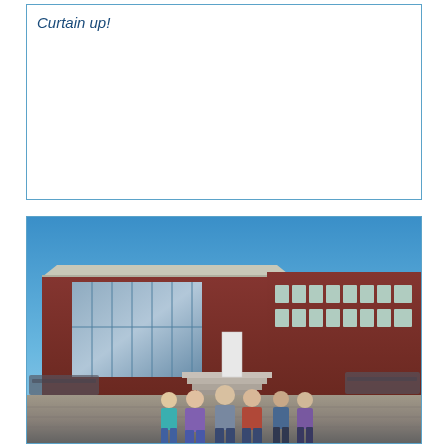Curtain up!
[Figure (photo): Students walking toward a modern school building with red brick facade and glass entrance, under a blue sky. Bicycles parked on the sides. Multiple students walking up steps toward the building entrance.]